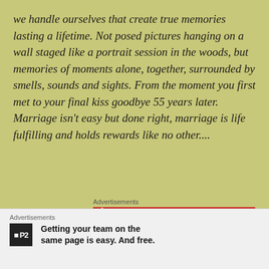we handle ourselves that create true memories lasting a lifetime. Not posed pictures hanging on a wall staged like a portrait session in the woods, but memories of moments alone, together, surrounded by smells, sounds and sights. From the moment you first met to your final kiss goodbye 55 years later. Marriage isn't easy but done right, marriage is life fulfilling and holds rewards like no other....
[Figure (other): Pocket Casts advertisement banner: red background, text 'An app by listeners, for listeners.' with a phone image and Pocket Casts logo]
I am sure there is a dozen or so more I could recite, but this is where it ends. I know he looks down upon us all
[Figure (other): P2 advertisement: 'Getting your team on the same page is easy. And free.']